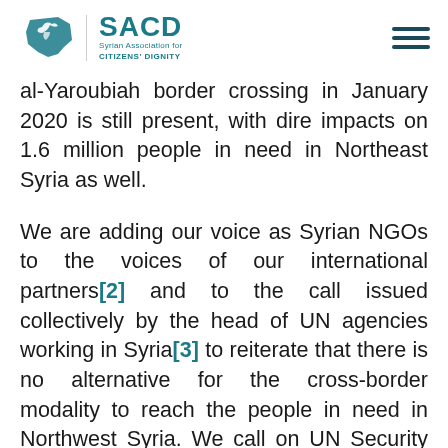SACD - Syrian Association for Citizens' Dignity
al-Yaroubiah border crossing in January 2020 is still present, with dire impacts on 1.6 million people in need in Northeast Syria as well.
We are adding our voice as Syrian NGOs to the voices of our international partners[2] and to the call issued collectively by the head of UN agencies working in Syria[3] to reiterate that there is no alternative for the cross-border modality to reach the people in need in Northwest Syria. We call on UN Security Council member states to renew their commitment to the neutrality of humanitarian assistance and to renew the cross-border humanitarian operations to Northwest Syria. We also want to highlight that